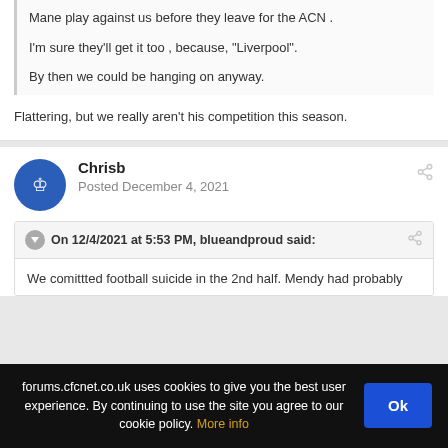Mane play against us before they leave for the ACN .
I'm sure they'll get it too ,  because,  "Liverpool".
By then we could be hanging on anyway.
Flattering,  but we really aren't his competition this season.
Chrisb
Posted December 4, 2021
On 12/4/2021 at 5:53 PM, blueandproud said:
We comittted football suicide in the 2nd half.  Mendy had probably
forums.cfcnet.co.uk uses cookies to give you the best user experience. By continuing to use the site you agree to our cookie policy. More info